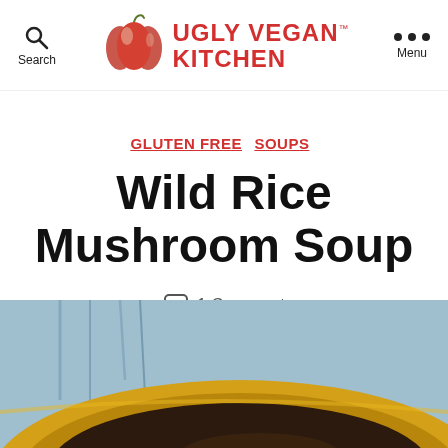Search | UGLY VEGAN KITCHEN | Menu
GLUTEN FREE  SOUPS
Wild Rice Mushroom Soup
1 Comment
[Figure (photo): A yellow bowl containing wild rice mushroom soup, photographed from above, with a blue-toned background showing bare tree branches.]